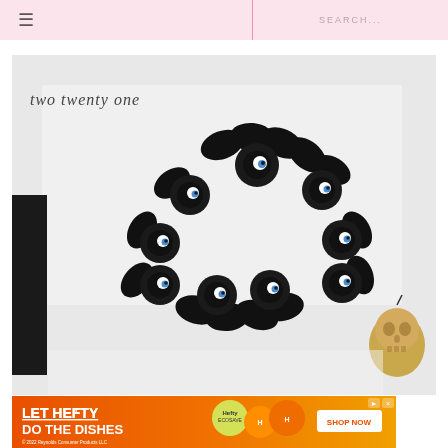≡  SEARCH...
[Figure (photo): A Halloween wreath made of black fabric flowers and leaves with googly eyes embedded in them, hung on a white door or wall. A gold metallic skull decoration is visible in the bottom right corner. A black fabric or panel is visible on the left side. The blog logo 'two twenty one' is written in script in the upper left of the image.]
[Figure (infographic): Advertisement banner for Hefty brand: 'LET HEFTY DO THE DISHES' with product images and 'SHOP NOW' button. © 2022 Reynolds Consumer Products LLC]